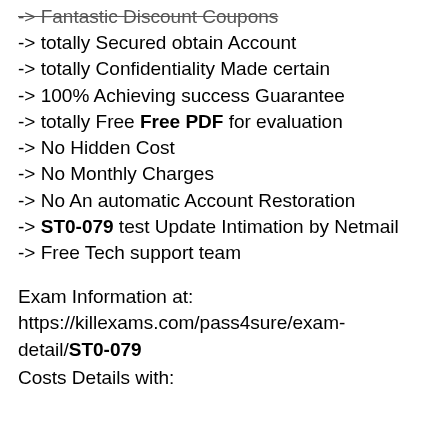-> Fantastic Discount Coupons
-> totally Secured obtain Account
-> totally Confidentiality Made certain
-> 100% Achieving success Guarantee
-> totally Free Free PDF for evaluation
-> No Hidden Cost
-> No Monthly Charges
-> No An automatic Account Restoration
-> ST0-079 test Update Intimation by Netmail
-> Free Tech support team
Exam Information at: https://killexams.com/pass4sure/exam-detail/ST0-079
Costs Details with: